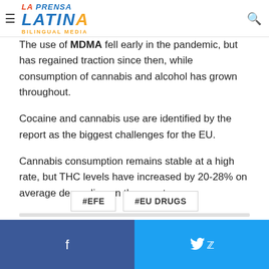La Prensa Latina Bilingual Media (navigation bar with logo and search icon)
particularly negative events
The use of MDMA fell early in the pandemic, but has regained traction since then, while consumption of cannabis and alcohol has grown throughout.
Cocaine and cannabis use are identified by the report as the biggest challenges for the EU.
Cannabis consumption remains stable at a high rate, but THC levels have increased by 20-28% on average depending on the country.
#EFE
#EU DRUGS
Facebook share | Twitter share